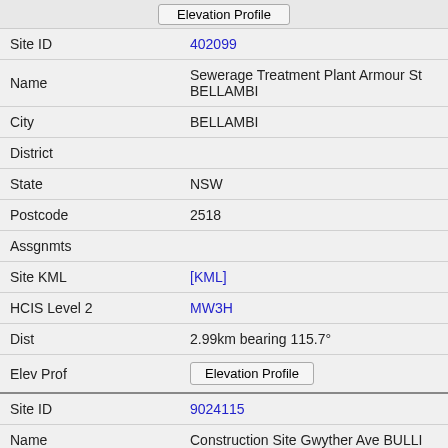| Field | Value |
| --- | --- |
| Site ID | 402099 |
| Name | Sewerage Treatment Plant Armour St BELLAMBI |
| City | BELLAMBI |
| District |  |
| State | NSW |
| Postcode | 2518 |
| Assgnmts |  |
| Site KML | [KML] |
| HCIS Level 2 | MW3H |
| Dist | 2.99km bearing 115.7° |
| Elev Prof | Elevation Profile |
| Site ID | 9024115 |
| Name | Construction Site Gwyther Ave BULLI |
| City | BULLI |
| District |  |
| State | NSW |